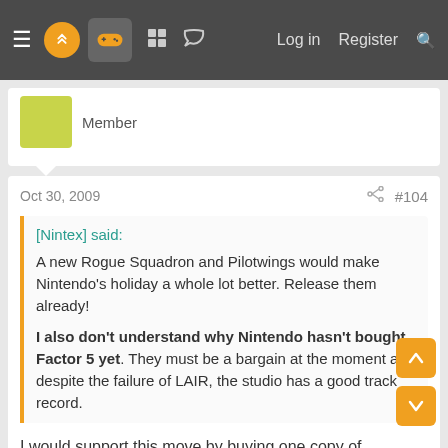≡ [logo] [gamepad] [grid] [chat] | Log in  Register  🔍
Member
Oct 30, 2009  #104
[Nintex] said:

A new Rogue Squadron and Pilotwings would make Nintendo's holiday a whole lot better. Release them already!

I also don't understand why Nintendo hasn't bought Factor 5 yet. They must be a bargain at the moment and despite the failure of LAIR, the studio has a good track record.
I would support this move by buying one copy of Pilotwings Wii and one copy of Rogue Squadron Trilogy.
AceBandage
Banned